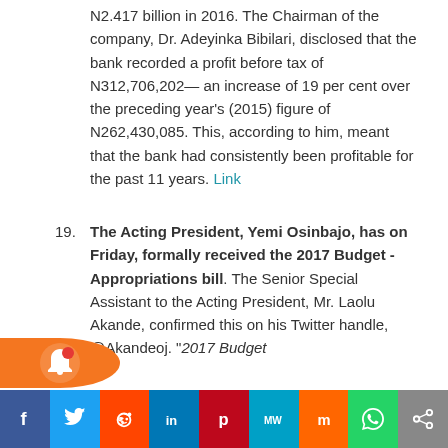N2.417 billion in 2016. The Chairman of the company, Dr. Adeyinka Bibilari, disclosed that the bank recorded a profit before tax of N312,706,202— an increase of 19 per cent over the preceding year's (2015) figure of N262,430,085. This, according to him, meant that the bank had consistently been profitable for the past 11 years. Link
19. The Acting President, Yemi Osinbajo, has on Friday, formally received the 2017 Budget -Appropriations bill. The Senior Special Assistant to the Acting President, Mr. Laolu Akande, confirmed this on his Twitter handle, @Akandeoj. "2017 Budget